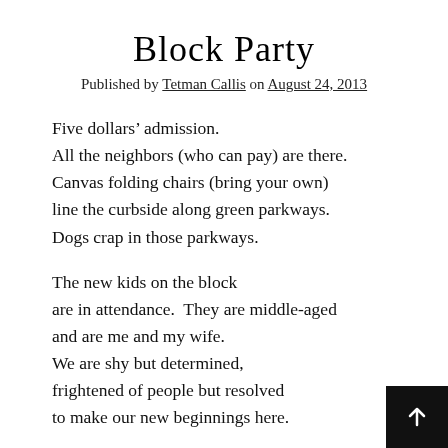Block Party
Published by Tetman Callis on August 24, 2013
Five dollars’ admission.
All the neighbors (who can pay) are there.
Canvas folding chairs (bring your own)
line the curbside along green parkways.
Dogs crap in those parkways.
The new kids on the block
are in attendance.  They are middle-aged
and are me and my wife.
We are shy but determined,
frightened of people but resolved
to make our new beginnings here.
We set our canvas chairs